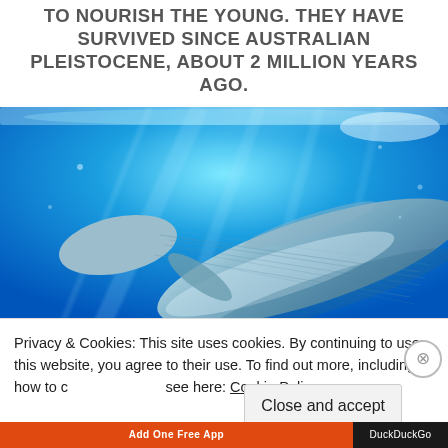TO NOURISH THE YOUNG. THEY HAVE SURVIVED SINCE AUSTRALIAN PLEISTOCENE, ABOUT 2 MILLION YEARS AGO.
[Figure (photo): Underwater photograph of a large blue whale swimming beneath the ocean surface, viewed from above and to the side. The whale's body is visible in shades of blue-grey against a bright blue water background with light filtering from above.]
Privacy & Cookies: This site uses cookies. By continuing to use this website, you agree to their use. To find out more, including how to control cookies, see here: Cookie Policy